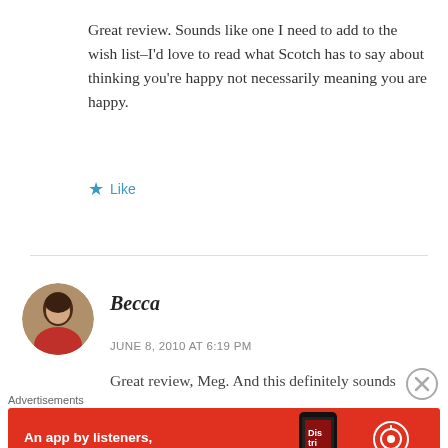Great review. Sounds like one I need to add to the wish list–I'd love to read what Scotch has to say about thinking you're happy not necessarily meaning you are happy.
★ Like
Becca
JUNE 8, 2010 AT 6:19 PM
Great review, Meg. And this definitely sounds
Advertisements
[Figure (infographic): Pocket Casts app advertisement banner with red background, phone image, and text 'An app by listeners, for listeners.']